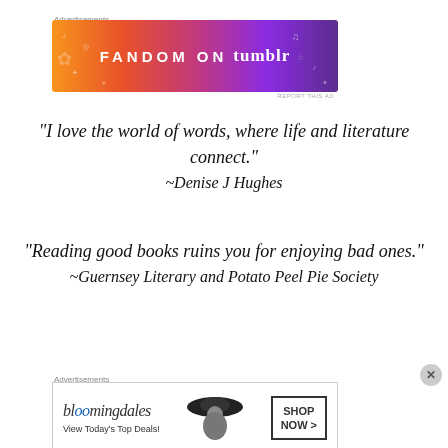Advertisements
[Figure (illustration): Fandom on Tumblr advertisement banner with gradient background from orange to purple]
“I love the world of words, where life and literature connect.”
~Denise J Hughes
“Reading good books ruins you for enjoying bad ones.”
~Guernsey Literary and Potato Peel Pie Society
Advertisements
[Figure (illustration): Bloomingdales advertisement with logo, woman in hat, and Shop Now button]